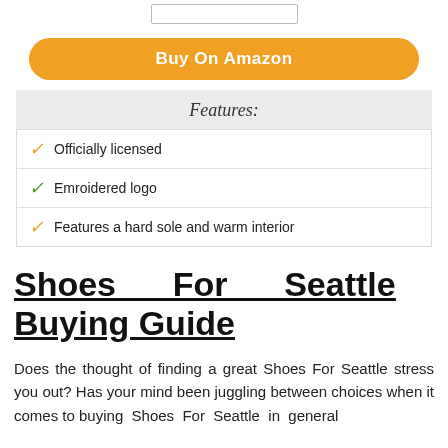[Figure (screenshot): Input text box (search/form field)]
Buy On Amazon
Features:
Officially licensed
Emroidered logo
Features a hard sole and warm interior
Shoes For Seattle Buying Guide
Does the thought of finding a great Shoes For Seattle stress you out? Has your mind been juggling between choices when it comes to buying Shoes For Seattle in general